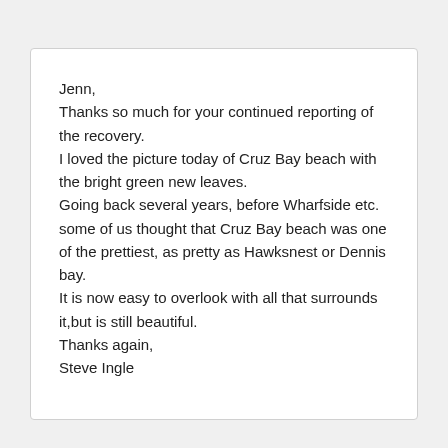Jenn,
Thanks so much for your continued reporting of the recovery.
I loved the picture today of Cruz Bay beach with the bright green new leaves.
Going back several years, before Wharfside etc. some of us thought that Cruz Bay beach was one of the prettiest, as pretty as Hawksnest or Dennis bay.
It is now easy to overlook with all that surrounds it,but is still beautiful.
Thanks again,
Steve Ingle